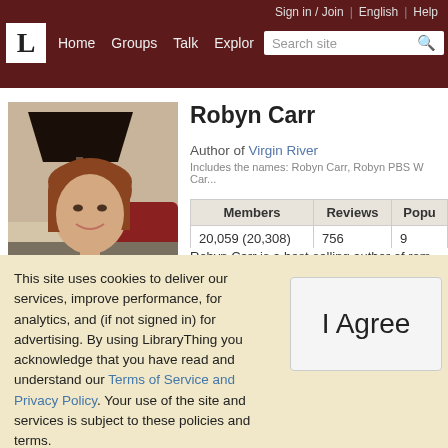Sign in / Join | English | Help | Home | Groups | Talk | Explore | Search site
[Figure (photo): Author photo of Robyn Carr, a woman with short auburn hair wearing a black top and pearl necklace, smiling, seated in a room with a lamp and red furniture in the background.]
Robyn Carr
Author of Virgin River
Includes the names: Robyn Carr, Robyn PBS W Car...
| Members | Reviews | Popu... |
| --- | --- | --- |
| 20,059 (20,308) | 756 | 9... |
Robyn Carr is a best-selling author of rom... she married her high school sweetheart w...
This site uses cookies to deliver our services, improve performance, for analytics, and (if not signed in) for advertising. By using LibraryThing you acknowledge that you have read and understand our Terms of Service and Privacy Policy. Your use of the site and services is subject to these policies and terms.
I Agree